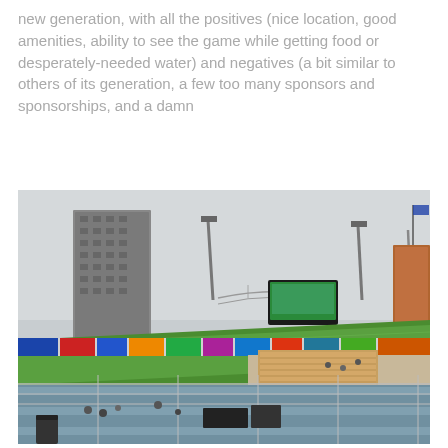new generation, with all the positives (nice location, good amenities, ability to see the game while getting food or desperately-needed water) and negatives (a bit similar to others of its generation, a few too many sponsors and sponsorships, and a damn
[Figure (photo): Aerial view of a baseball stadium showing green field, bleacher seating, scoreboard, light towers, and a city skyline with a tall building and bridge in the background.]